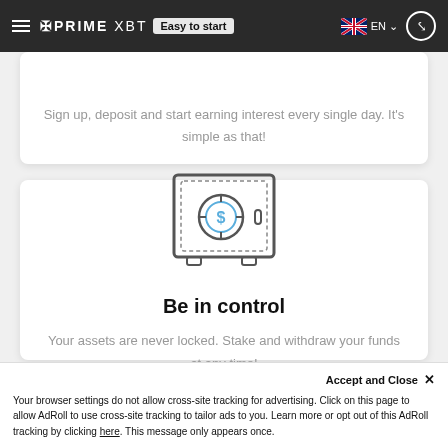PRIME XBT | Easy to start | EN
Sign up, deposit and start earning interest every single day. It's simple as that!
[Figure (illustration): Icon of a bank safe/vault with a dollar sign in the center circle, drawn in gray outline style]
Be in control
Your assets are never locked. Stake and withdraw your funds at any time!
Accept and Close ×
Your browser settings do not allow cross-site tracking for advertising. Click on this page to allow AdRoll to use cross-site tracking to tailor ads to you. Learn more or opt out of this AdRoll tracking by clicking here. This message only appears once.